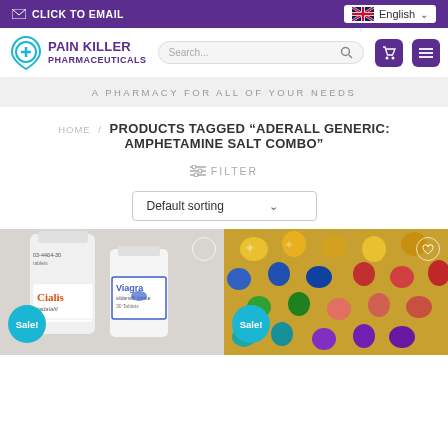CLICK TO EMAIL | English
[Figure (screenshot): Pain Killer Pharmaceuticals logo with navigation bar including search, cart, and menu buttons]
A PHARMACY FOR ALL OF YOUR NEEDS
HOME / PRODUCTS TAGGED "ADERALL GENERIC: AMPHETAMINE SALT COMBO"
≡ FILTER
Default sorting
[Figure (photo): Left product thumbnail showing Cialis and Viagra bottles with Sale! badge]
[Figure (photo): Right product thumbnail showing colorful pill-shaped candies/tablets with Sale! badge]